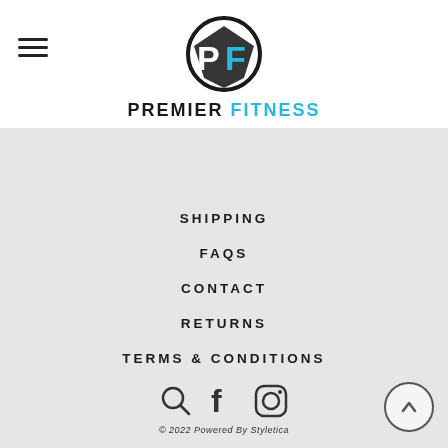[Figure (logo): Premier Fitness logo with circular badge containing PF letters in black and blue, above text PREMIER FITNESS]
SHIPPING
FAQS
CONTACT
RETURNS
TERMS & CONDITIONS
[Figure (illustration): Social media icons: search (magnifying glass), Facebook (f), Instagram (camera)]
© 2022 Powered By Styletica